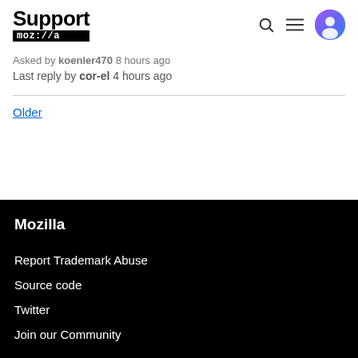Support moz://a
Asked by koenler470 8 hours ago
Last reply by cor-el 4 hours ago
Older
Mozilla
Report Trademark Abuse
Source code
Twitter
Join our Community